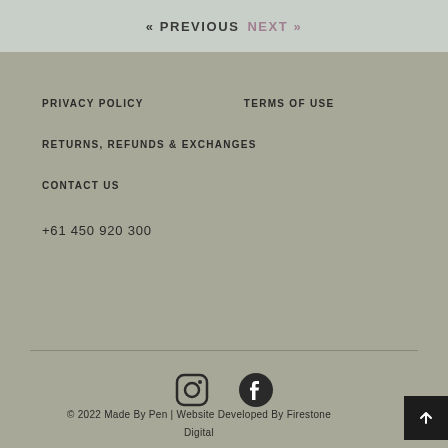« PREVIOUS   NEXT »
PRIVACY POLICY
TERMS OF USE
RETURNS, REFUNDS & EXCHANGES
CONTACT US
+61 450 920 300
[Figure (illustration): Instagram and Facebook social media icons]
© 2022 Made By Pen | Website Developed By Firestone Digital